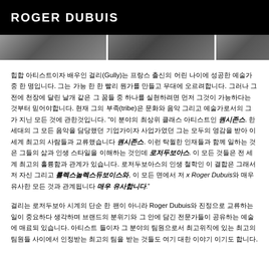ROGER DUBUIS
[Figure (photo): Black and white photo strip showing partial images of people or subjects, split into three segments]
힙합 아티스트이자 배우인 걸리(Gully)는 프랑스 출신의 어린 나이에 성공한 예술가 중 한 명입니다. 그는 가능 한 한 빨리 뭔가를 만들고 무대에 오르려합니다. 그러나 그 전에 천장에 달린 날개 같은 그 꿈들 중 하나를 실현하려면 먼저 그것이 가능하다는 것부터 믿어야합니다. 현재 그의 부족(tribe)은 문화와 음악 그리고 예술가로서의 그가 지닌 모든 것에 관한것입니다. "이 분야의 최상위 클래스 아티스트인 퀀시존스. 한 세대의 그 모든 음악을 담당했던 기업가이자 사업가였던 그는 모두의 영감을 받아 이 세계 최고의 사람들과 교류했습니다 퀀시존스. 이런 탁월한 인재들과 함께 일하는 것은 그들의 삶과 인생 스타일을 이해하는 것인데 로저두보아스. 이 모든 것들은 전 세계 최고의 훌륭함과 관계가 있습니다. 로저두보아스의 인생 철학인 이 결합은 그래서 저 자신 그리고 롤렉스놀렉스듀보이스와, 이 모든 면에서 저 x Roger Dubuis와 매우 유사한 모든 것과 관계됩니다 매우 유사합니다."
걸리는 로저두보아 시계의 단순 한 팬이 아니라 Roger Dubuis와 진정으로 교류하는 일이 중요하다 생각하며 브랜드의 분위기와 그 안에 담긴 전문가들이 공유하는 예술에 매료되 있습니다. 아티스트 들이자 그 분야의 팀원으로서 최고위직에 있는 최고의 팀원들 사이에서 인정받는 최고의 팀을 받는 것들도 여기 대한 이야기 이기도 합니다.